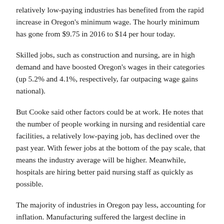relatively low-paying industries has benefited from the rapid increase in Oregon's minimum wage. The hourly minimum has gone from $9.75 in 2016 to $14 per hour today.
Skilled jobs, such as construction and nursing, are in high demand and have boosted Oregon's wages in their categories (up 5.2% and 4.1%, respectively, far outpacing wage gains national).
But Cooke said other factors could be at work. He notes that the number of people working in nursing and residential care facilities, a relatively low-paying job, has declined over the past year. With fewer jobs at the bottom of the pay scale, that means the industry average will be higher. Meanwhile, hospitals are hiring better paid nursing staff as quickly as possible.
The majority of industries in Oregon pay less, accounting for inflation. Manufacturing suffered the largest decline in